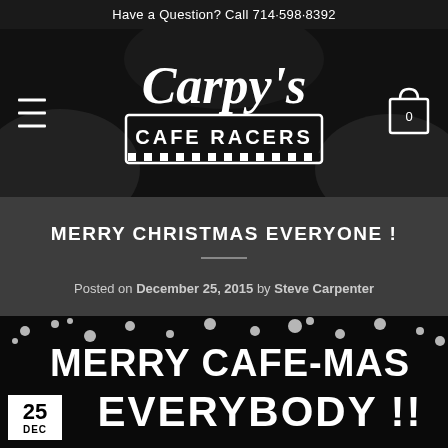Have a Question? Call 714-598-8392
[Figure (logo): Carpy's Cafe Racers logo — white script 'Carpy's' above a rectangular badge reading 'CAFE RACERS' with checkered border, on dark background. Hamburger menu icon on left, shopping cart icon with '0' on right.]
MERRY CHRISTMAS EVERYONE !
Posted on December 25, 2015 by Steve Carpenter
[Figure (photo): Dark image with snowflake decorations, large white bold text reading 'MERRY CAFE-MAS EVERYBODY !!' A date badge in lower left shows '25 DEC'.]